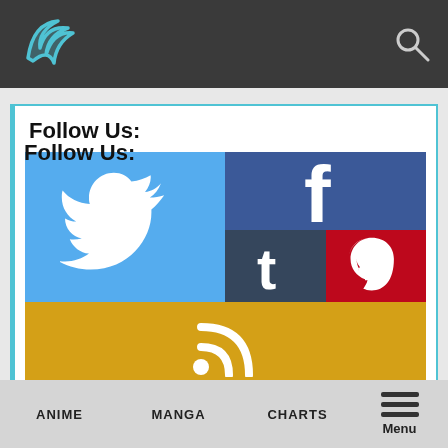Website header with logo and search icon
Follow Us:
[Figure (infographic): Social media follow buttons grid: Twitter (blue bird), Facebook (f), Tumblr (t), Pinterest (P), RSS feed icon (orange)]
ANIME   MANGA   CHARTS   Menu